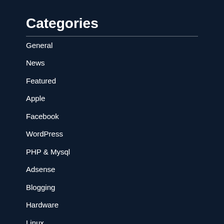Categories
General
News
Featured
Apple
Facebook
WordPress
PHP & Mysql
Adsense
Blogging
Hardware
Linux
Projects
SEO
Social Network